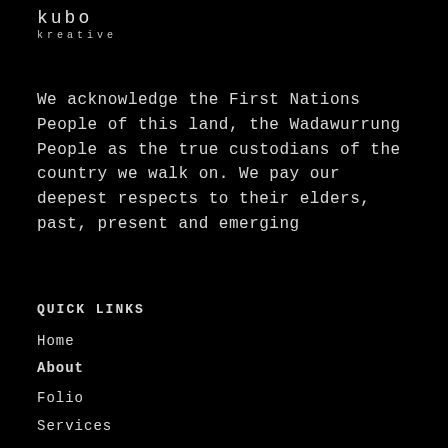[Figure (logo): kubo kreative logo in white/light monospace text on black background]
We acknowledge the First Nations People of this land, the Wadawurrung People as the true custodians of the country we walk on. We pay our deepest respects to their elders, past, present and emerging
QUICK LINKS
Home
About
Folio
Services